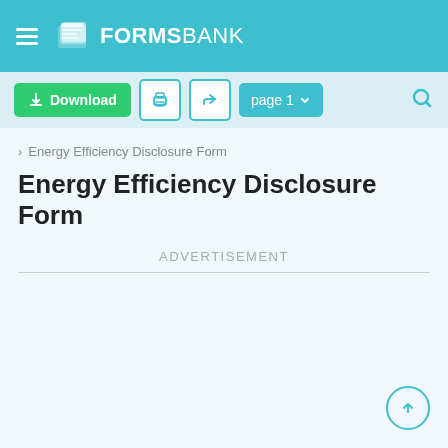FORMSBANK
[Figure (screenshot): FormsBank website toolbar with Download button, print icon, share icon, page 1 dropdown, and search icon]
> Energy Efficiency Disclosure Form
Energy Efficiency Disclosure Form
ADVERTISEMENT